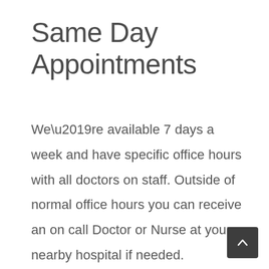Same Day Appointments
We’re available 7 days a week and have specific office hours with all doctors on staff. Outside of normal office hours you can receive an on call Doctor or Nurse at your nearby hospital if needed.